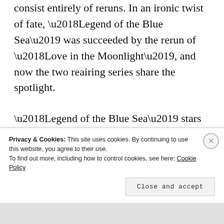consist entirely of reruns. In an ironic twist of fate, ‘Legend of the Blue Sea’ was succeeded by the rerun of ‘Love in the Moonlight’, and now the two reairing series share the spotlight.
‘Legend of the Blue Sea’ stars Korean pop star Lee Min-ho and Jun Ji-hyun, with a story centering on a con artist and a mermaid who traveled across the ocean to find him. The series earned six SBS
Privacy & Cookies: This site uses cookies. By continuing to use this website, you agree to their use.
To find out more, including how to control cookies, see here: Cookie Policy